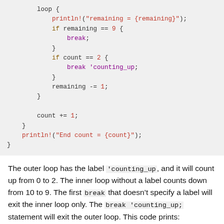[Figure (other): Rust code block showing a loop with break and labeled break statements, count and remaining variables]
The outer loop has the label 'counting_up, and it will count up from 0 to 2. The inner loop without a label counts down from 10 to 9. The first break that doesn't specify a label will exit the inner loop only. The break 'counting_up; statement will exit the outer loop. This code prints: